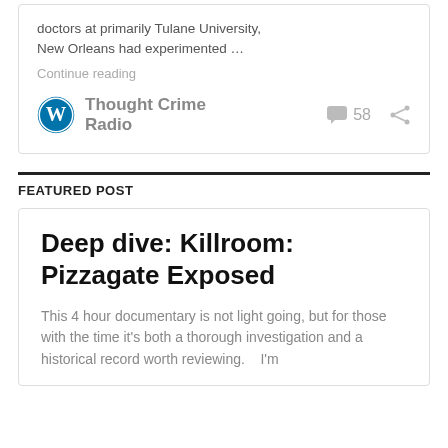doctors at primarily Tulane University, New Orleans had experimented …
Continue reading
Thought Crime Radio
58
FEATURED POST
Deep dive: Killroom: Pizzagate Exposed
This 4 hour documentary is not light going, but for those with the time it's both a thorough investigation and a historical record worth reviewing.    I'm